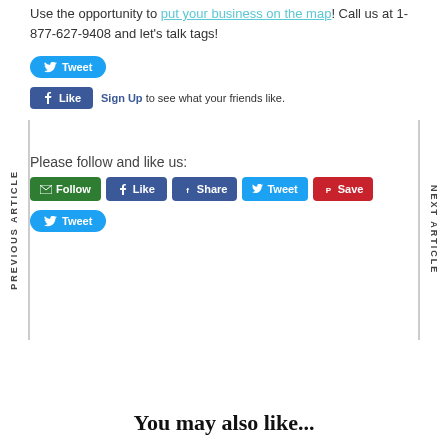Use the opportunity to put your business on the map! Call us at 1-877-627-9408 and let's talk tags!
[Figure (screenshot): Twitter Tweet button (blue rounded pill shape)]
[Figure (screenshot): Facebook Like button with Sign Up link and text 'to see what your friends like.']
Please follow and like us:
[Figure (screenshot): Row of social media buttons: green Follow (email), blue Like (Facebook), blue Share (Facebook), blue Tweet (Twitter), red Save (Pinterest)]
[Figure (screenshot): Blue Tweet button (Twitter)]
You may also like...